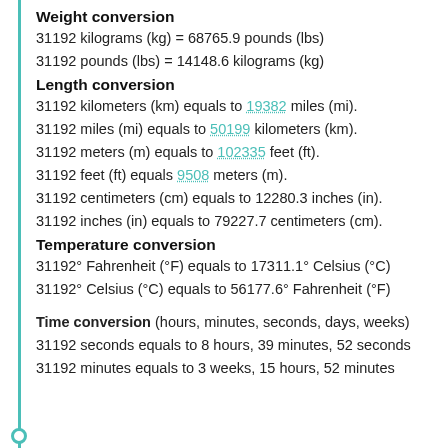Weight conversion
31192 kilograms (kg) = 68765.9 pounds (lbs)
31192 pounds (lbs) = 14148.6 kilograms (kg)
Length conversion
31192 kilometers (km) equals to 19382 miles (mi).
31192 miles (mi) equals to 50199 kilometers (km).
31192 meters (m) equals to 102335 feet (ft).
31192 feet (ft) equals 9508 meters (m).
31192 centimeters (cm) equals to 12280.3 inches (in).
31192 inches (in) equals to 79227.7 centimeters (cm).
Temperature conversion
31192° Fahrenheit (°F) equals to 17311.1° Celsius (°C)
31192° Celsius (°C) equals to 56177.6° Fahrenheit (°F)
Time conversion (hours, minutes, seconds, days, weeks)
31192 seconds equals to 8 hours, 39 minutes, 52 seconds
31192 minutes equals to 3 weeks, 15 hours, 52 minutes